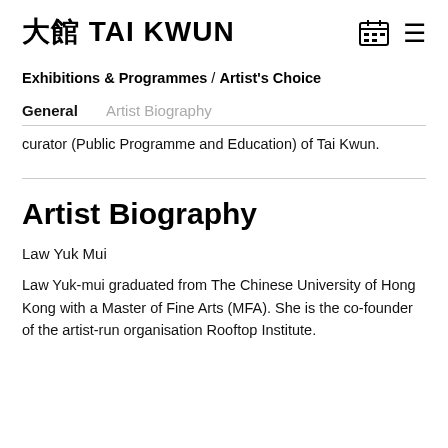大館 TAI KWUN
Exhibitions & Programmes / Artist's Choice
General   Artist Biography
curator (Public Programme and Education) of Tai Kwun.
Artist Biography
Law Yuk Mui
Law Yuk-mui graduated from The Chinese University of Hong Kong with a Master of Fine Arts (MFA). She is the co-founder of the artist-run organisation Rooftop Institute.